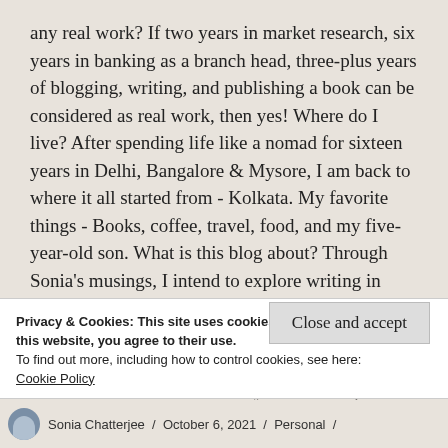any real work? If two years in market research, six years in banking as a branch head, three-plus years of blogging, writing, and publishing a book can be considered as real work, then yes! Where do I live? After spending life like a nomad for sixteen years in Delhi, Bangalore & Mysore, I am back to where it all started from - Kolkata. My favorite things - Books, coffee, travel, food, and my five-year-old son. What is this blog about? Through Sonia's musings, I intend to explore writing in various genres, create social awareness, spread laughter, and give words to emotions. Anything for readers? You can check out my book 'Deal of Death' on Amazon Kindle. If you like fast-paced thrillers, this Detective...
Privacy & Cookies: This site uses cookies. By continuing to use this website, you agree to their use.
To find out more, including how to control cookies, see here:
Cookie Policy
Close and accept
Sonia Chatterjee / October 6, 2021 / Personal /